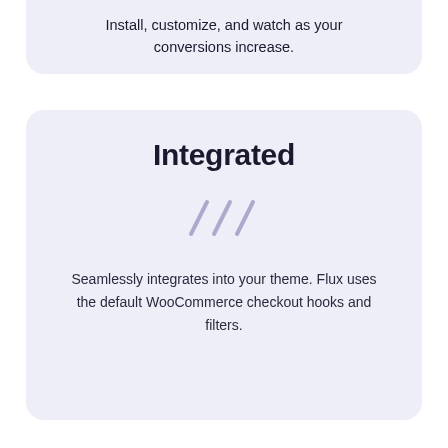Install, customize, and watch as your conversions increase.
Integrated
[Figure (illustration): Three diagonal slash marks in a light purple/lavender color, serving as a decorative icon]
Seamlessly integrates into your theme. Flux uses the default WooCommerce checkout hooks and filters.